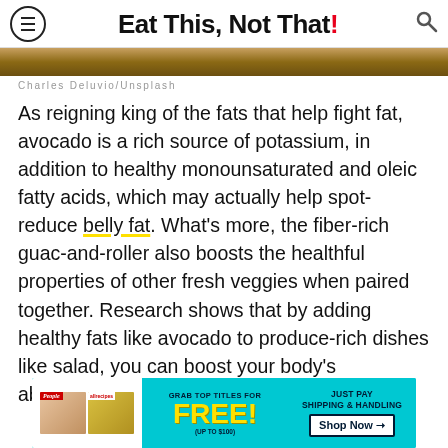Eat This, Not That!
[Figure (photo): Close-up photo of food, warm golden/brown tones, partial view]
Charles Deluvio/Unsplash
As reigning king of the fats that help fight fat, avocado is a rich source of potassium, in addition to healthy monounsaturated and oleic fatty acids, which may actually help spot-reduce belly fat. What's more, the fiber-rich guac-and-roller also boosts the healthful properties of other fresh veggies when paired together. Research shows that by adding healthy fats like avocado to produce-rich dishes like salad, you can boost your body's absorption of the nutrients available.
[Figure (infographic): Advertisement banner: Grab top titles for FREE (up to $100), Just Pay Shipping & Handling, Shop Now button. Features People and allrecipes magazine logos.]